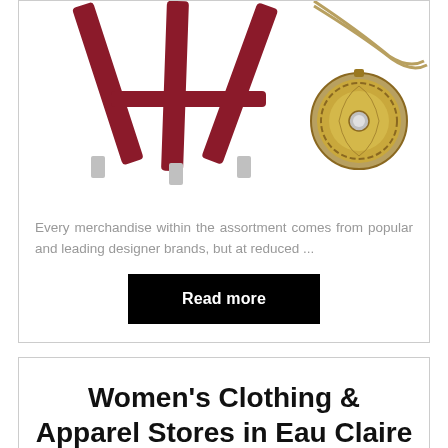[Figure (photo): Photo of red/burgundy suspenders and an ornate bronze pocket watch on a chain against a white background]
Every merchandise within the assortment comes from popular and leading designer brands, but at reduced ...
Read more
Women's Clothing & Apparel Stores in Eau Claire
Posted on 21/08/2021 by SiGadis